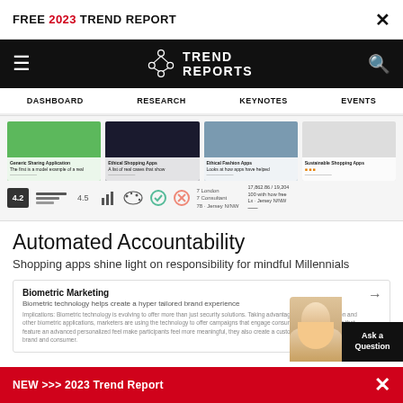FREE 2023 TREND REPORT  ×
≡  TREND REPORTS  🔍
DASHBOARD  RESEARCH  KEYNOTES  EVENTS
[Figure (screenshot): Screenshot of Trend Reports website showing four app/product cards with images (green app, dark presentation, grey interface, white document), rating 4.2, progress bars, and icons at the bottom of the strip.]
Automated Accountability
Shopping apps shine light on responsibility for mindful Millennials
Biometric Marketing
Biometric technology helps create a hyper tailored brand experience
Implications: Biometric technology is evolving to offer more than just security solutions. Taking advantage of facial recognition and other biometric applications, marketers are using the technology to offer campaigns that engage consumers. Advertisements that feature an advanced, personalized feel make participants feel more meaningful, they also create a customer relationship between brand and consumer.
NEW >>> 2023 Trend Report  ×